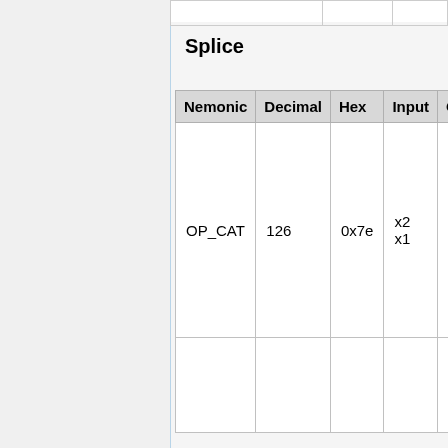Splice
| Nemonic | Decimal | Hex | Input | Output |
| --- | --- | --- | --- | --- |
| OP_CAT | 126 | 0x7e | x2 x1 | out |
|  |  |  |  |  |